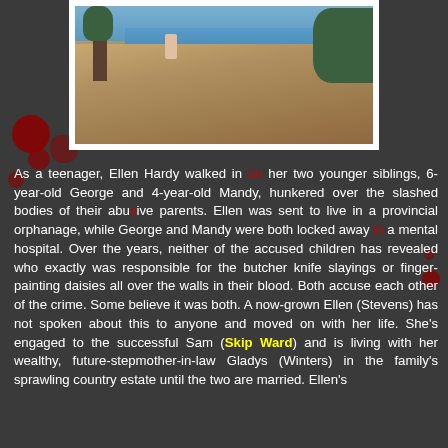[Figure (photo): Outdoor photo of a person walking on rocky terrain near water, with a tree on the left and greenery on the right, warm lighting.]
As a teenager, Ellen Hardy walked in on her two younger siblings, 6-year-old George and 4-year-old Mandy, hunkered over the slashed bodies of their abusive parents. Ellen was sent to live in a provincial orphanage, while George and Mandy were both locked away in a mental hospital. Over the years, neither of the accused children has revealed who exactly was responsible for the butcher knife slayings or finger-painting daisies all over the walls in their blood. Both accuse each other of the crime. Some believe it was both. A now-grown Ellen (Stevens) has not spoken about this to anyone and moved on with her life. She's engaged to the successful Sam (Skip Ward) and is living with her wealthy, future-stepmother-in-law Gladys (Winters) in the family's sprawling country estate until the two are married. Ellen's